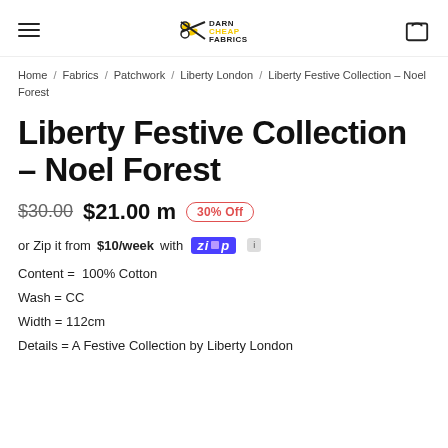Darn Cheap Fabrics — navigation header with hamburger menu, logo, and cart icon
Home / Fabrics / Patchwork / Liberty London / Liberty Festive Collection – Noel Forest
Liberty Festive Collection – Noel Forest
$30.00  $21.00 m  30% Off
or Zip it from $10/week with Zip
Content =  100% Cotton
Wash = CC
Width = 112cm
Details = A Festive Collection by Liberty London